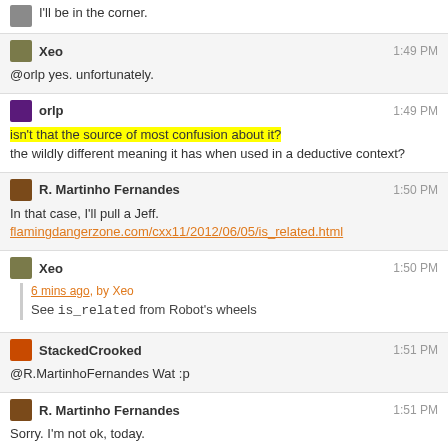I'll be in the corner.
Xeo 1:49 PM
@orlp yes. unfortunately.
orlp 1:49 PM
isn't that the source of most confusion about it?
the wildly different meaning it has when used in a deductive context?
R. Martinho Fernandes 1:50 PM
In that case, I'll pull a Jeff.
flamingdangerzone.com/cxx11/2012/06/05/is_related.html
Xeo 1:50 PM
6 mins ago, by Xeo
See is_related from Robot's wheels
StackedCrooked 1:51 PM
@R.MartinhoFernandes Wat :p
R. Martinho Fernandes 1:51 PM
Sorry. I'm not ok, today.
I think I have nose cancer.
Wait, that's a thing.
Alex M. 1:57 PM